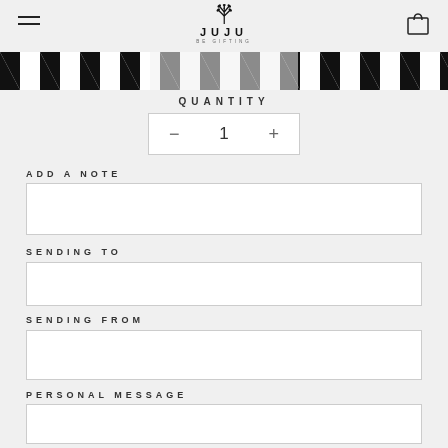JUJU BE GIFTING
[Figure (illustration): Black and white chevron/herringbone pattern banner strip]
QUANTITY
— 1 +
ADD A NOTE
SENDING TO
SENDING FROM
PERSONAL MESSAGE